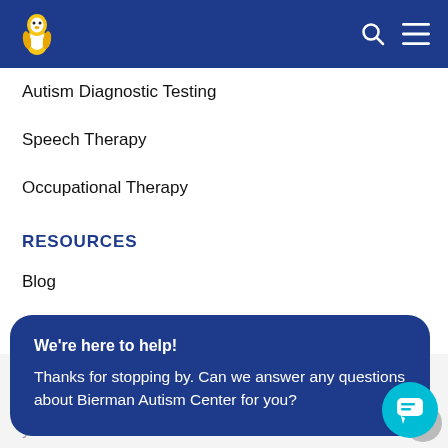Bierman Autism Center navigation header with logo and menu icons
Autism Diagnostic Testing
Speech Therapy
Occupational Therapy
RESOURCES
Blog
Virtual Caregiver Training
[Figure (other): Dark blue rounded chat bubble overlay with bold white heading 'We're here to help!' and body text 'Thanks for stopping by. Can we answer any questions about Bierman Autism Center for you?']
EMPLOYEE ACCESS
Employee Intranet